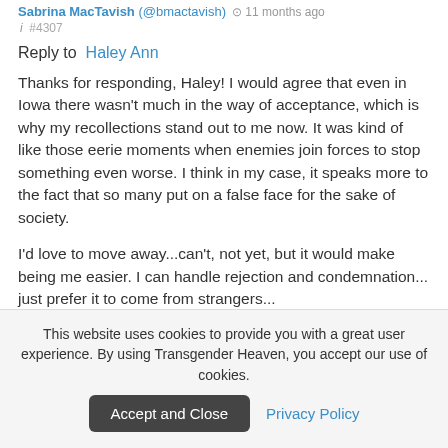Sabrina MacTavish (@bmactavish) · 11 months ago
 ℹ #4307
Reply to Haley Ann
Thanks for responding, Haley! I would agree that even in Iowa there wasn't much in the way of acceptance, which is why my recollections stand out to me now. It was kind of like those eerie moments when enemies join forces to stop something even worse. I think in my case, it speaks more to the fact that so many put on a false face for the sake of society.
I'd love to move away...can't, not yet, but it would make being me easier. I can handle rejection and condemnation... just prefer it to come from strangers...
This website uses cookies to provide you with a great user experience. By using Transgender Heaven, you accept our use of cookies.
Accept and Close   Privacy Policy